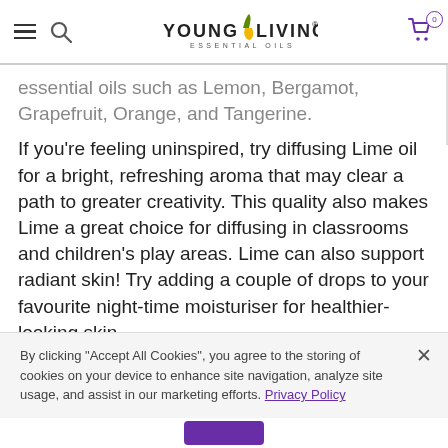Young Living Essential Oils — navigation header with hamburger menu, search icon, logo, and cart (0)
essential oils such as Lemon, Bergamot, Grapefruit, Orange, and Tangerine.
If you're feeling uninspired, try diffusing Lime oil for a bright, refreshing aroma that may clear a path to greater creativity. This quality also makes Lime a great choice for diffusing in classrooms and children's play areas. Lime can also support radiant skin! Try adding a couple of drops to your favourite night-time moisturiser for healthier-looking skin.
By clicking "Accept All Cookies", you agree to the storing of cookies on your device to enhance site navigation, analyze site usage, and assist in our marketing efforts. Privacy Policy